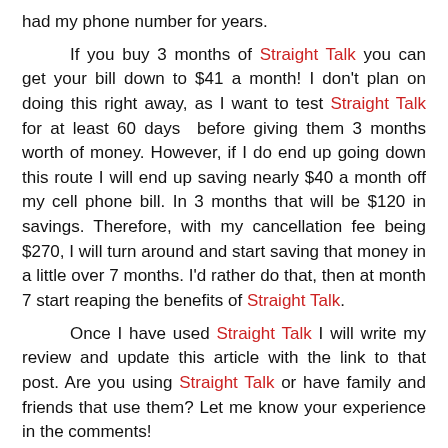had my phone number for years.
If you buy 3 months of Straight Talk you can get your bill down to $41 a month! I don't plan on doing this right away, as I want to test Straight Talk for at least 60 days before giving them 3 months worth of money. However, if I do end up going down this route I will end up saving nearly $40 a month off my cell phone bill. In 3 months that will be $120 in savings. Therefore, with my cancellation fee being $270, I will turn around and start saving that money in a little over 7 months. I'd rather do that, then at month 7 start reaping the benefits of Straight Talk.
Once I have used Straight Talk I will write my review and update this article with the link to that post. Are you using Straight Talk or have family and friends that use them? Let me know your experience in the comments!